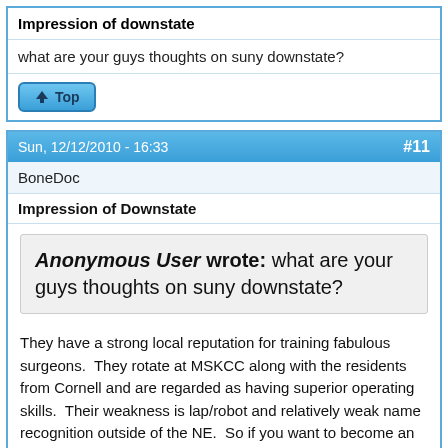Impression of downstate
what are your guys thoughts on suny downstate?
Top
Sun, 12/12/2010 - 16:33   #11
BoneDoc
Impression of Downstate
Anonymous User wrote: what are your guys thoughts on suny downstate?
They have a strong local reputation for training fabulous surgeons.  They rotate at MSKCC along with the residents from Cornell and are regarded as having superior operating skills.  Their weakness is lap/robot and relatively weak name recognition outside of the NE.  So if you want to become an amazing surgeon and don't mind doing a fellowship for lap/robot, this is an excellent program.